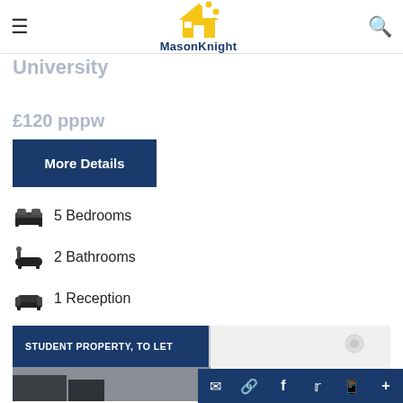MasonKnight — navigation bar with hamburger menu and search icon
5 Double Bedroom Barn Conversion, Easy Access to Nottingham Trent University
£120 pppw
More Details
5 Bedrooms
2 Bathrooms
1 Reception
[Figure (photo): Property listing card with label STUDENT PROPERTY, TO LET and interior photo of a modern kitchen/living space]
Social share bar: email, link, facebook, twitter, whatsapp, more